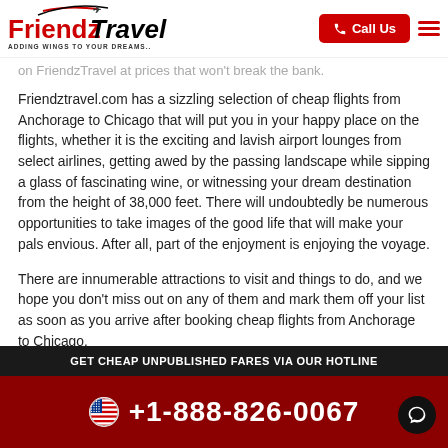FriendzTravel - ADDING WINGS TO YOUR DREAMS.. | Call Us
on FriendzTravel at prices that won't break the bank.
Friendztravel.com has a sizzling selection of cheap flights from Anchorage to Chicago that will put you in your happy place on the flights, whether it is the exciting and lavish airport lounges from select airlines, getting awed by the passing landscape while sipping a glass of fascinating wine, or witnessing your dream destination from the height of 38,000 feet. There will undoubtedly be numerous opportunities to take images of the good life that will make your pals envious. After all, part of the enjoyment is enjoying the voyage.
There are innumerable attractions to visit and things to do, and we hope you don't miss out on any of them and mark them off your list as soon as you arrive after booking cheap flights from Anchorage to Chicago.
GET CHEAP UNPUBLISHED FARES VIA OUR HOTLINE
+1-888-826-0067